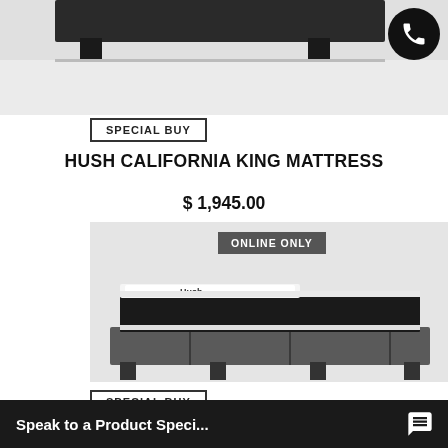[Figure (photo): Cropped top portion of a dark upholstered bed frame on light gray background, with phone icon circle in top right corner]
SPECIAL BUY
HUSH CALIFORNIA KING MATTRESS
$ 1,945.00
[Figure (photo): Hush California King Mattress shown on a dark upholstered platform bed frame with 'ONLINE ONLY' badge, on light gray background]
ONLINE ONLY
SPECIAL BUY
HUSH FUL...
Speak to a Product Speci...